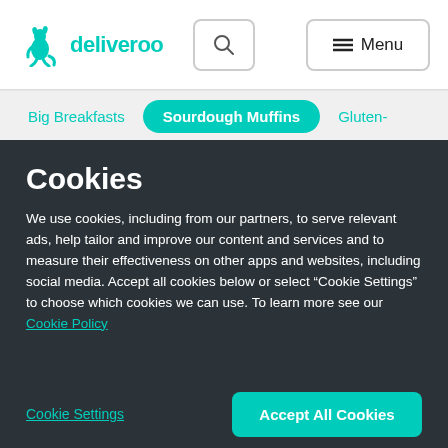[Figure (logo): Deliveroo logo with kangaroo icon and brand name]
Big Breakfasts  Sourdough Muffins  Gluten-
Cookies
We use cookies, including from our partners, to serve relevant ads, help tailor and improve our content and services and to measure their effectiveness on other apps and websites, including social media. Accept all cookies below or select “Cookie Settings” to choose which cookies we can use. To learn more see our Cookie Policy
Cookie Settings
Accept All Cookies